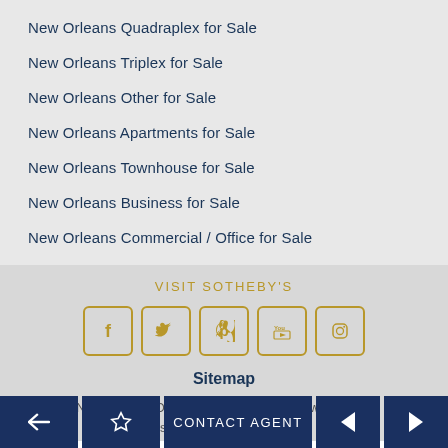New Orleans Quadraplex for Sale
New Orleans Triplex for Sale
New Orleans Other for Sale
New Orleans Apartments for Sale
New Orleans Townhouse for Sale
New Orleans Business for Sale
New Orleans Commercial / Office for Sale
VISIT SOTHEBY'S
[Figure (infographic): Social media icons: Facebook, Twitter, Pinterest, YouTube, Instagram — each in a rounded square with gold border]
Sitemap
New Orleans Office: 617 Julia Street, New Orleans, Louisiana 70130 United States
back | star | CONTACT AGENT | prev | next